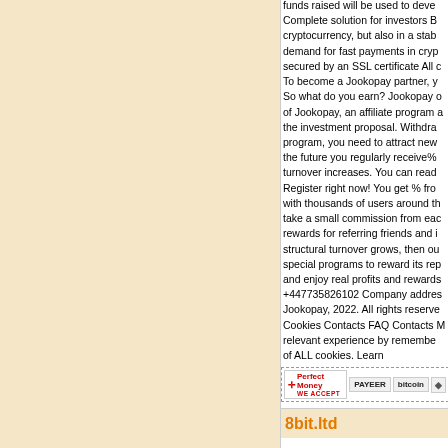funds raised will be used to devel Complete solution for investors B cryptocurrency, but also in a stab demand for fast payments in cryp secured by an SSL certificate All c To become a Jookopay partner, y So what do you earn? Jookopay of Jookopay, an affiliate program the investment proposal. Withdra program, you need to attract new the future you regularly receive% turnover increases. You can read Register right now! You get % fro with thousands of users around th take a small commission from eac rewards for referring friends and i structural turnover grows, then ou special programs to reward its rep and enjoy real profits and rewards +447735826102 Company addres Jookopay, 2022. All rights reserve Cookies Contacts FAQ Contacts relevant experience by remember of ALL cookies. Learn
[Figure (infographic): Payment method badges: Perfect Money (WE ACCEPT), PAYEER, bitcoin, and a fourth badge (partially visible)]
8bit.ltd